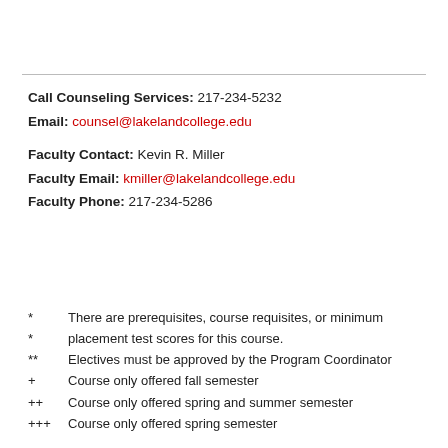Call Counseling Services: 217-234-5232
Email: counsel@lakelandcollege.edu
Faculty Contact: Kevin R. Miller
Faculty Email: kmiller@lakelandcollege.edu
Faculty Phone: 217-234-5286
* There are prerequisites, course requisites, or minimum
* placement test scores for this course.
** Electives must be approved by the Program Coordinator
+ Course only offered fall semester
++ Course only offered spring and summer semester
+++ Course only offered spring semester